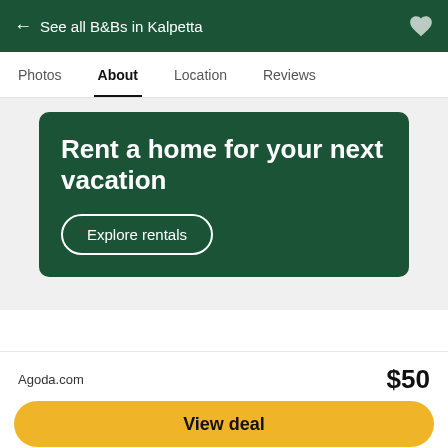← See all B&Bs in Kalpetta
Photos   About   Location   Reviews
[Figure (infographic): Green promotional banner with text 'Rent a home for your next vacation' and an 'Explore rentals' button]
Location
[Figure (map): Map showing Kalpetta area with various pins including hotel marker, food markers, and location labels including 'Malabar Wildlife', 'Kalpetta', route 29]
Agoda.com  $50
View deal